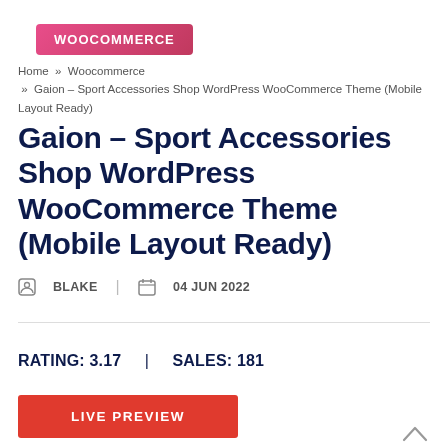WOOCOMMERCE
Home » Woocommerce » Gaion – Sport Accessories Shop WordPress WooCommerce Theme (Mobile Layout Ready)
Gaion – Sport Accessories Shop WordPress WooCommerce Theme (Mobile Layout Ready)
BLAKE | 04 JUN 2022
RATING: 3.17  |  SALES: 181
LIVE PREVIEW